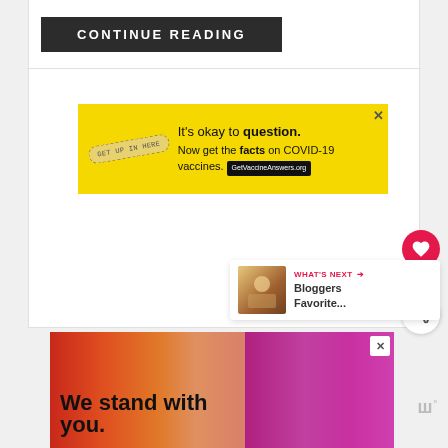[Figure (screenshot): CONTINUE READING button — dark background with white uppercase text and wide letter spacing]
[Figure (screenshot): Yellow advertisement banner: bandaid icon, text 'It's okay to question. Now get the facts on COVID-19 vaccines. GetVaccineAnswers.org', with close X button]
[Figure (screenshot): White content panel with heart/like button (red, showing 47 likes), share button, and 'WHAT'S NEXT' panel showing 'Bloggers Favorite...']
[Figure (screenshot): Bottom advertisement with colorful gradient background showing text 'We stand with you.' and a logo on the right, close X button visible]